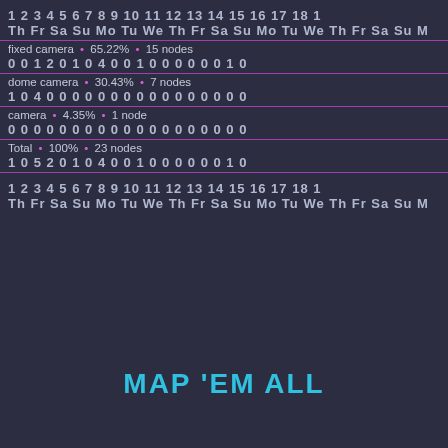| 1 | 2 | 3 | 4 | 5 | 6 | 7 | 8 | 9 | 10 | 11 | 12 | 13 | 14 | 15 | 16 | 17 | 18 | 1... |
| --- | --- | --- | --- | --- | --- | --- | --- | --- | --- | --- | --- | --- | --- | --- | --- | --- | --- | --- |
| Th | Fr | Sa | Su | Mo | Tu | We | Th | Fr | Sa | Su | Mo | Tu | We | Th | Fr | Sa | Su | M... |
| fixed camera • 65.22% • 15 nodes |  |  |  |  |  |  |  |  |  |  |  |  |  |  |  |  |  |  |
| 0 | 0 | 1 | 2 | 0 | 1 | 0 | 4 | 0 | 0 | 1 | 0 | 0 | 0 | 0 | 0 | 0 | 1 | 0 |
| dome camera • 30.43% • 7 nodes |  |  |  |  |  |  |  |  |  |  |  |  |  |  |  |  |  |  |
| 1 | 0 | 4 | 0 | 0 | 0 | 0 | 0 | 0 | 0 | 0 | 0 | 0 | 0 | 0 | 0 | 0 | 0 | 0 |
| camera • 4.35% • 1 node |  |  |  |  |  |  |  |  |  |  |  |  |  |  |  |  |  |  |
| 0 | 0 | 0 | 0 | 0 | 0 | 0 | 0 | 0 | 0 | 0 | 0 | 0 | 0 | 0 | 0 | 0 | 0 | 0 |
| Total • 100% • 23 nodes |  |  |  |  |  |  |  |  |  |  |  |  |  |  |  |  |  |  |
| 1 | 0 | 5 | 2 | 0 | 1 | 0 | 4 | 0 | 0 | 1 | 0 | 0 | 0 | 0 | 0 | 0 | 1 | 0 |
| Th | Fr | Sa | Su | Mo | Tu | We | Th | Fr | Sa | Su | Mo | Tu | We | Th | Fr | Sa | Su | M... |
MAP 'EM ALL